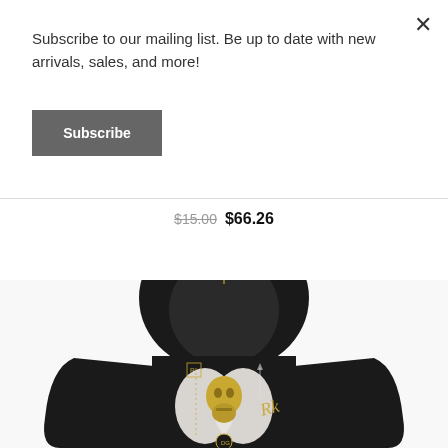Subscribe to our mailing list. Be up to date with new arrivals, sales, and more!
Subscribe
×
$15.00  $66.26
SALE
[Figure (photo): Black hoodie product photo showing the back of the hoodie with gold skull and white face graphic design, gold sun emblem on hood, worn by a model]
NEW